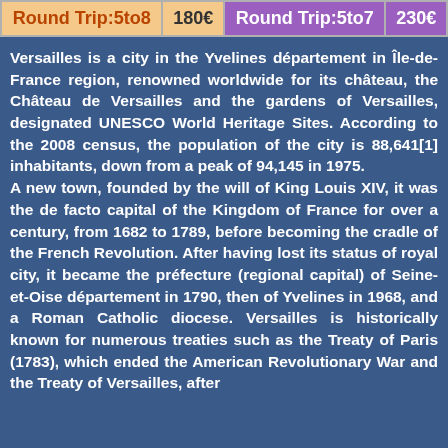| Round Trip:5to8 | 180€ | Round Trip:5to7 | 230€ |
Versailles is a city in the Yvelines département in Île-de-France region, renowned worldwide for its château, the Château de Versailles and the gardens of Versailles, designated UNESCO World Heritage Sites. According to the 2008 census, the population of the city is 88,641[1] inhabitants, down from a peak of 94,145 in 1975.
A new town, founded by the will of King Louis XIV, it was the de facto capital of the Kingdom of France for over a century, from 1682 to 1789, before becoming the cradle of the French Revolution. After having lost its status of royal city, it became the préfecture (regional capital) of Seine-et-Oise département in 1790, then of Yvelines in 1968, and a Roman Catholic diocese. Versailles is historically known for numerous treaties such as the Treaty of Paris (1783), which ended the American Revolutionary War and the Treaty of Versailles, after